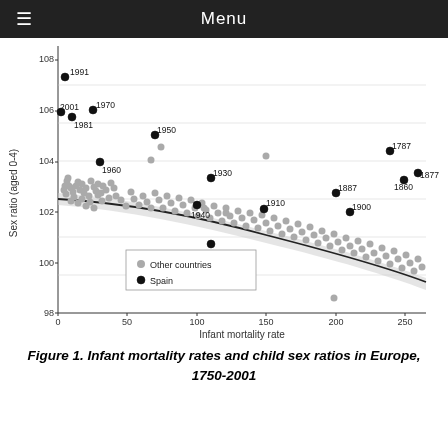Menu
[Figure (scatter-plot): Scatter plot showing infant mortality rate (x-axis, 0-260) vs sex ratio aged 0-4 (y-axis, 98-108) for European countries 1750-2001. Gray dots = Other countries, black filled dots = Spain labeled with years (1787, 1860, 1877, 1887, 1900, 1910, 1920, 1930, 1940, 1950, 1960, 1970, 1981, 1991, 2001). Downward sloping regression line with confidence band.]
Figure 1. Infant mortality rates and child sex ratios in Europe, 1750-2001